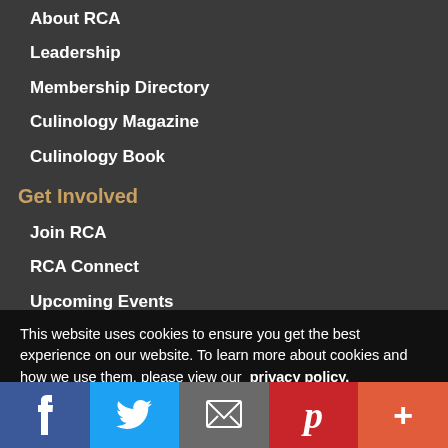About RCA
Leadership
Membership Directory
Culinology Magazine
Culinology Book
Get Involved
Join RCA
RCA Connect
Upcoming Events
Regions
This website uses cookies to ensure you get the best experience on our website. To learn more about cookies and how we use them, please view our  privacy policy.
✔ OK
Terms of
Policy